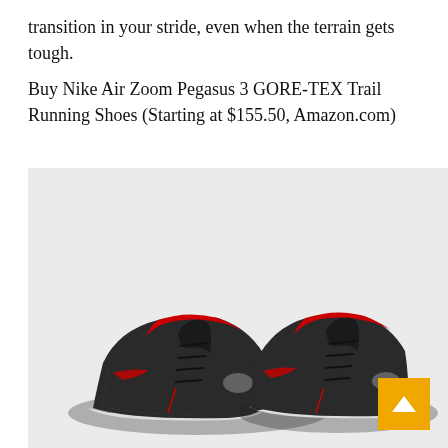transition in your stride, even when the terrain gets tough.
Buy Nike Air Zoom Pegasus 3 GORE-TEX Trail Running Shoes (Starting at $155.50, Amazon.com)
[Figure (photo): Pair of black and red high-top Nike basketball/running shoes photographed on a light gray background, shown from a slightly elevated front-angled perspective.]